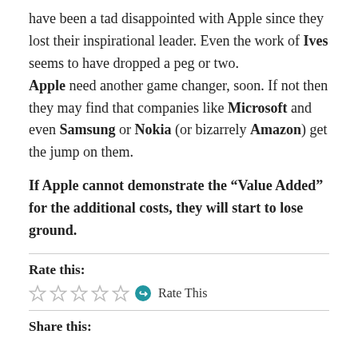have been a tad disappointed with Apple since they lost their inspirational leader. Even the work of Ives seems to have dropped a peg or two. Apple need another game changer, soon. If not then they may find that companies like Microsoft and even Samsung or Nokia (or bizarrely Amazon) get the jump on them.
If Apple cannot demonstrate the “Value Added” for the additional costs, they will start to lose ground.
Rate this:
[Figure (other): Five empty star rating icons followed by a teal info/arrow icon and the text 'Rate This']
Share this: